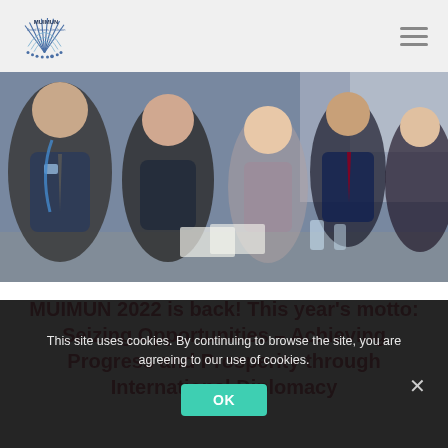MUIMUN
[Figure (photo): Conference photo showing young professionals in business attire seated at a table, appearing to be engaged in a Model United Nations session]
MUIMUN 2022 is back! This year’s motto: Seizing Opportunities – Achieving Progress and Prosperity through International Diplomacy
This site uses cookies. By continuing to browse the site, you are agreeing to our use of cookies.
OK